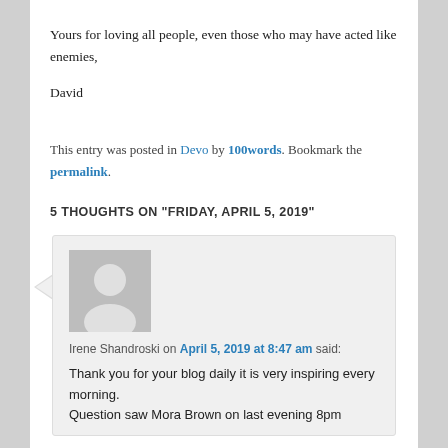Yours for loving all people, even those who may have acted like enemies,
David
This entry was posted in Devo by 100words. Bookmark the permalink.
5 THOUGHTS ON "FRIDAY, APRIL 5, 2019"
Irene Shandroski on April 5, 2019 at 8:47 am said:
Thank you for your blog daily it is very inspiring every morning. Question saw Mora Brown on last evening 8pm